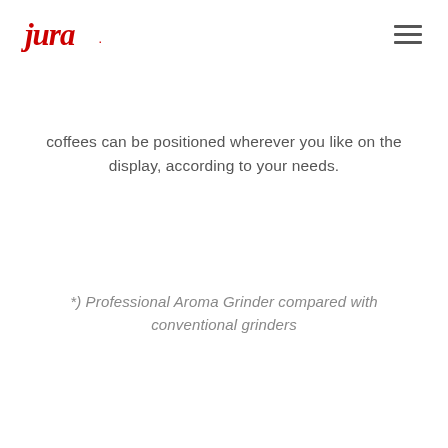jura
coffees can be positioned wherever you like on the display, according to your needs.
*) Professional Aroma Grinder compared with conventional grinders